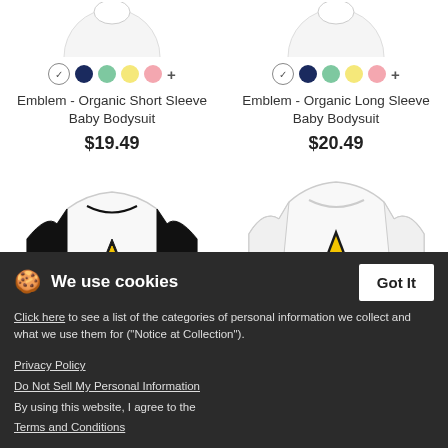[Figure (photo): Partial top view of white organic short sleeve baby bodysuit with Star Trek emblem]
Emblem - Organic Short Sleeve Baby Bodysuit
$19.49
[Figure (photo): Partial top view of white organic long sleeve baby bodysuit with Star Trek emblem]
Emblem - Organic Long Sleeve Baby Bodysuit
$20.49
[Figure (photo): Baseball baby raglan shirt with black sleeves and Star Trek Delta Shield emblem in yellow/black]
[Figure (photo): White baby organic t-shirt with Star Trek Delta Shield emblem in yellow/black]
We use cookies
Click here to see a list of the categories of personal information we collect and what we use them for ("Notice at Collection").
Privacy Policy
Do Not Sell My Personal Information
By using this website, I agree to the Terms and Conditions
Emblem - Baseball Baby...
$19.49
Emblem - Baby Organic T-Shirt
$20.49